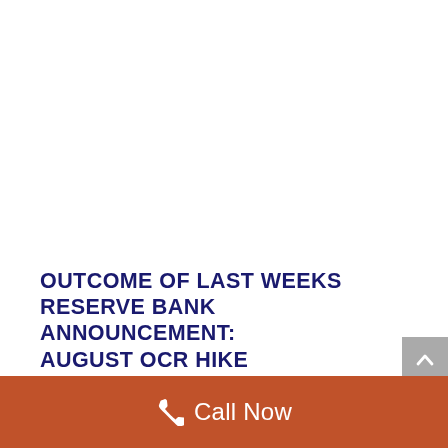OUTCOME OF LAST WEEKS RESERVE BANK ANNOUNCEMENT: AUGUST OCR HIKE PREDICTION AND REDUCED ECONOMIC STIMULUS
What we know...
Call Now